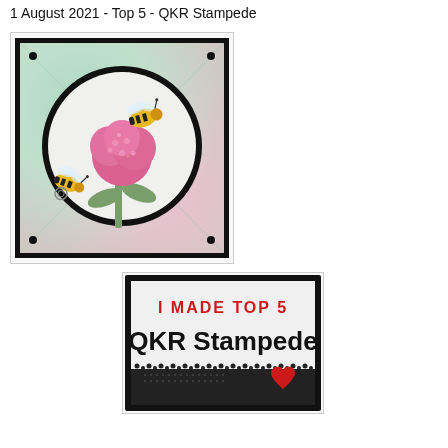1 August 2021 - Top 5 - QKR Stampede
[Figure (illustration): A handmade card featuring two bees on a pink thistle flower inside a black circle, on a teal/pink watercolor background with black corners, black border, and black brad embellishments.]
[Figure (illustration): A badge/logo image with black thick border, text 'I MADE TOP 5' in red stencil font, 'QKR Stampede' in large bold black text, decorative dotted/torn bottom edge with a red heart.]